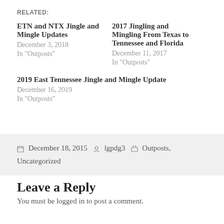RELATED:
ETN and NTX Jingle and Mingle Updates
December 3, 2018
In "Outposts"
2017 Jingling and Mingling From Texas to Tennessee and Florida
December 11, 2017
In "Outposts"
2019 East Tennessee Jingle and Mingle Update
December 16, 2019
In "Outposts"
December 18, 2015   lgpdg3   Outposts, Uncategorized
Leave a Reply
You must be logged in to post a comment.